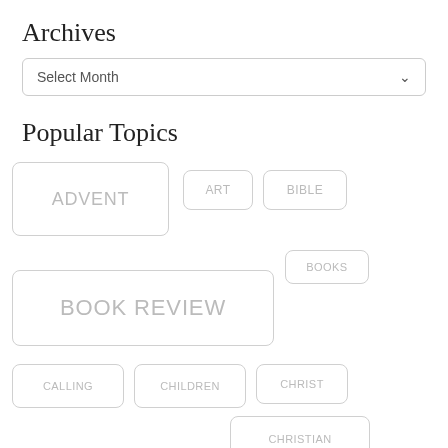Archives
Select Month
Popular Topics
ADVENT
ART
BIBLE
BOOKS
BOOK REVIEW
CALLING
CHILDREN
CHRIST
CHRISTIAN
CHRISTMAS